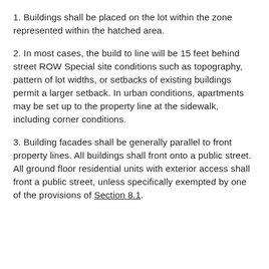1. Buildings shall be placed on the lot within the zone represented within the hatched area.
2. In most cases, the build to line will be 15 feet behind street ROW Special site conditions such as topography, pattern of lot widths, or setbacks of existing buildings permit a larger setback. In urban conditions, apartments may be set up to the property line at the sidewalk, including corner conditions.
3. Building facades shall be generally parallel to front property lines. All buildings shall front onto a public street. All ground floor residential units with exterior access shall front a public street, unless specifically exempted by one of the provisions of Section 8.1.